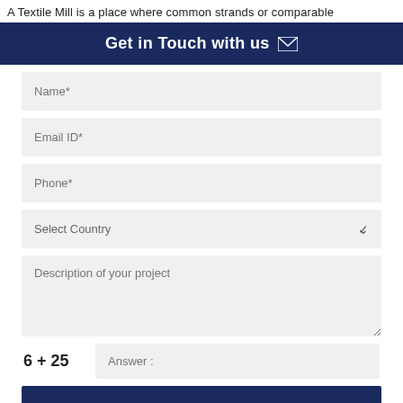A Textile Mill is a place where common strands or comparable
Get in Touch with us
Name*
Email ID*
Phone*
Select Country
Description of your project
6 + 25  Answer :
SUBMIT